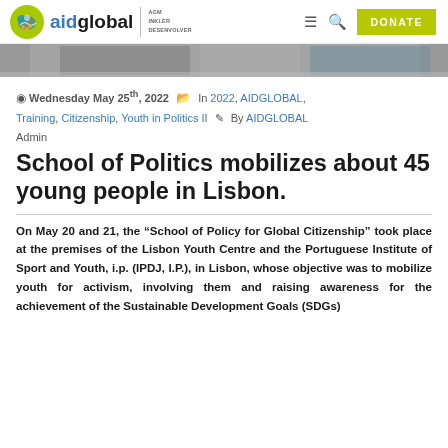aidglobal | AGM INKLER DESENVOLVER | DONATE
[Figure (photo): Hero image strip showing people, partially cropped]
Wednesday May 25th, 2022  In 2022, AIDGLOBAL, Training, Citizenship, Youth in Politics II  By AIDGLOBAL Admin
School of Politics mobilizes about 45 young people in Lisbon.
On May 20 and 21, the “School of Policy for Global Citizenship” took place at the premises of the Lisbon Youth Centre and the Portuguese Institute of Sport and Youth, i.p. (IPDJ, I.P.), in Lisbon, whose objective was to mobilize youth for activism, involving them and raising awareness for the achievement of the Sustainable Development Goals (SDGs)